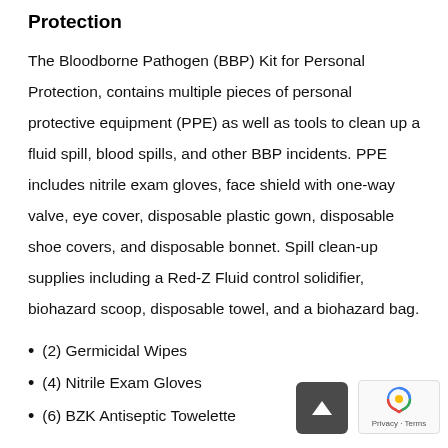Protection
The Bloodborne Pathogen (BBP) Kit for Personal Protection, contains multiple pieces of personal protective equipment (PPE) as well as tools to clean up a fluid spill, blood spills, and other BBP incidents. PPE includes nitrile exam gloves, face shield with one-way valve, eye cover, disposable plastic gown, disposable shoe covers, and disposable bonnet. Spill clean-up supplies including a Red-Z Fluid control solidifier, biohazard scoop, disposable towel, and a biohazard bag.
(2) Germicidal Wipes
(4) Nitrile Exam Gloves
(6) BZK Antiseptic Towelette